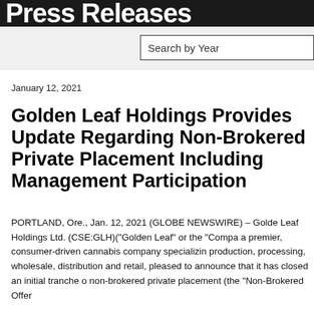Press Releases
Search by Year
January 12, 2021
Golden Leaf Holdings Provides Update Regarding Non-Brokered Private Placement Including Management Participation
PORTLAND, Ore., Jan. 12, 2021 (GLOBE NEWSWIRE) – Golden Leaf Holdings Ltd. (CSE:GLH)("Golden Leaf" or the "Company"), a premier, consumer-driven cannabis company specializing in production, processing, wholesale, distribution and retail, is pleased to announce that it has closed an initial tranche of its non-brokered private placement (the "Non-Brokered Offer...